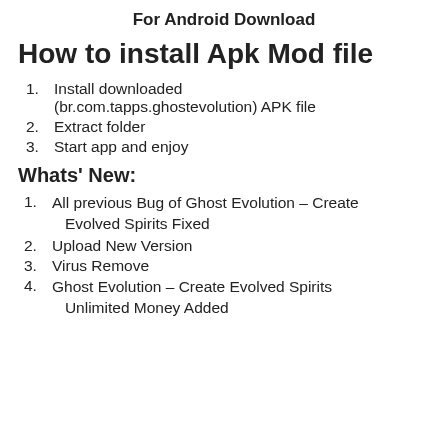For Android Download
How to install Apk Mod file
Install downloaded (br.com.tapps.ghostevolution) APK file
Extract folder
Start app and enjoy
Whats' New:
All previous Bug of Ghost Evolution – Create Evolved Spirits Fixed
Upload New Version
Virus Remove
Ghost Evolution – Create Evolved Spirits Unlimited Money Added